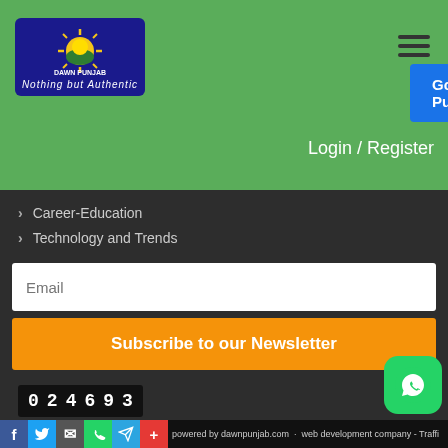[Figure (logo): Dawn Punjab logo - blue rectangular box with sun graphic and text 'DAWN PUNJAB - Nothing but Authentic']
Go To Punjabi
Classified Ads
Login / Register
Career-Education
Technology and Trends
Email
Subscribe to our Newsletter
024693
powered by dawnpunjab.com - web development company - Traffi...